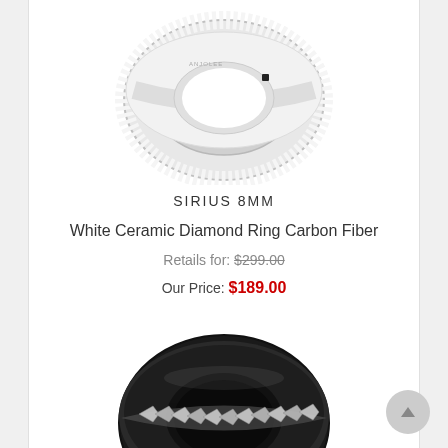[Figure (photo): White ceramic diamond ring with carbon fiber inlay, viewed from top angle on white background]
SIRIUS 8MM
White Ceramic Diamond Ring Carbon Fiber
Retails for: $299.00
Our Price: $189.00
[Figure (photo): Black ceramic ring with silver chain inlay, viewed from top angle on white background]